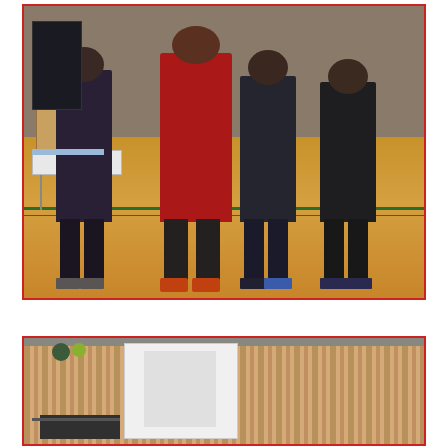[Figure (photo): Students gathered in a school gymnasium around display tables during what appears to be a science fair or educational event. Several students wearing hoodies stand facing exhibits. Hardwood gym floor with green lines visible.]
[Figure (photo): Interior of a modern building lobby or hallway with wood-paneled walls featuring vertical slats. A white display structure or kiosk is visible, along with a monitor on a desk in the foreground.]